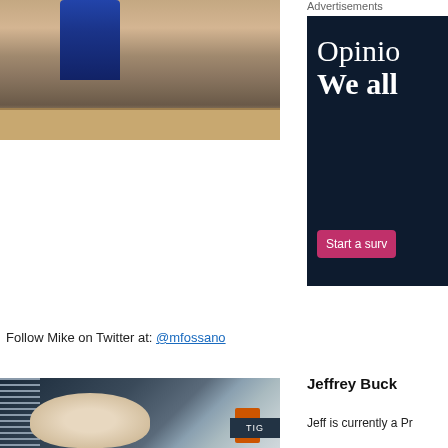[Figure (photo): A person crouching next to a large decorative sculpture, possibly a tiger or lion statue, on a brick or concrete surface near a stadium entrance.]
Follow Mike on Twitter at: @mfossano
[Figure (photo): A large white animal sculpture (tiger or lion) in front of a baseball stadium structure with orange construction equipment visible.]
Advertisements
[Figure (other): Advertisement banner with dark navy background showing the text 'Opinio' and 'We all' in white serif font, with a pink button 'Start a surv']
Jeffrey Buck
Jeff is currently a Pr